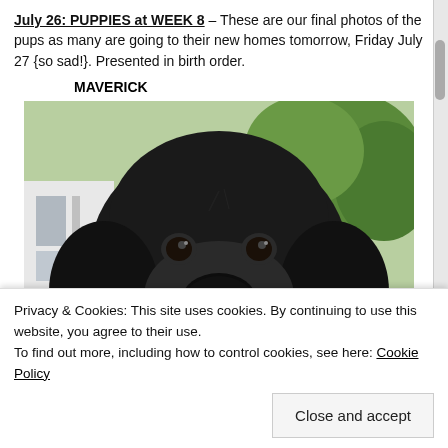July 26: PUPPIES at WEEK 8 – These are our final photos of the pups as many are going to their new homes tomorrow, Friday July 27 {so sad!}. Presented in birth order.
MAVERICK
[Figure (photo): Close-up photo of a black Labrador puppy (Maverick) with a blurry outdoor background showing trees and a white structure.]
Privacy & Cookies: This site uses cookies. By continuing to use this website, you agree to their use. To find out more, including how to control cookies, see here: Cookie Policy
Close and accept